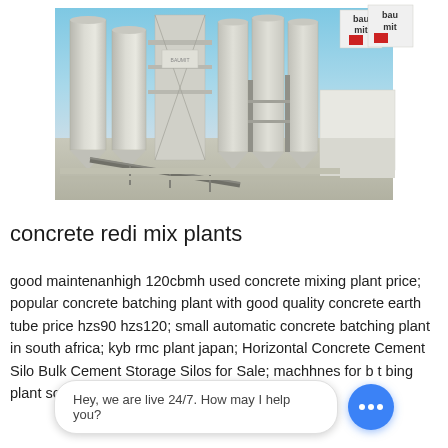[Figure (photo): Industrial concrete batching/mixing plant facility showing large white cylindrical silos, conveyor belts, scaffolding, and support structures under a blue sky. Baumit brand logos visible on signage.]
concrete redi mix plants
good maintenanhigh 120cbmh used concrete mixing plant price; popular concrete batching plant with good quality concrete earth tube price hzs90 hzs120; small automatic concrete batching plant in south africa; kyb rmc plant japan; Horizontal Concrete Cement Silo Bulk Cement Storage Silos for Sale; machhnes for b t bing plant south afric